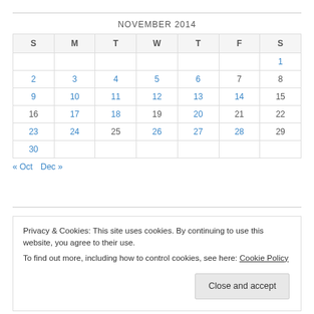NOVEMBER 2014
| S | M | T | W | T | F | S |
| --- | --- | --- | --- | --- | --- | --- |
|  |  |  |  |  |  | 1 |
| 2 | 3 | 4 | 5 | 6 | 7 | 8 |
| 9 | 10 | 11 | 12 | 13 | 14 | 15 |
| 16 | 17 | 18 | 19 | 20 | 21 | 22 |
| 23 | 24 | 25 | 26 | 27 | 28 | 29 |
| 30 |  |  |  |  |  |  |
« Oct   Dec »
Privacy & Cookies: This site uses cookies. By continuing to use this website, you agree to their use. To find out more, including how to control cookies, see here: Cookie Policy
Close and accept